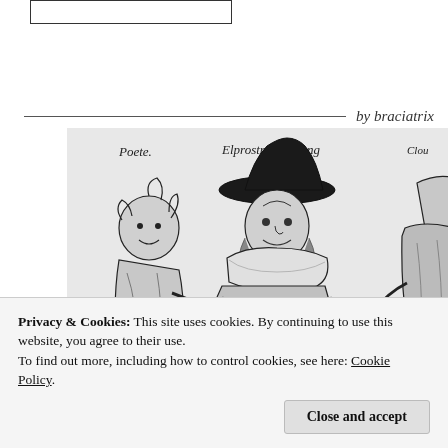[Figure (illustration): Partial top box outline visible at very top of page]
by braciatrix
[Figure (illustration): Medieval woodcut illustration showing three figures in period clothing. Left figure labeled 'Poete.' holds a book. Center figure labeled 'Elprostr Rummyng' wears a wide-brimmed black hat and holds two tankards/mugs. Right figure partially cropped labeled 'Clou' gestures. Black and white engraving style.]
Privacy & Cookies: This site uses cookies. By continuing to use this website, you agree to their use.
To find out more, including how to control cookies, see here: Cookie Policy
Close and accept